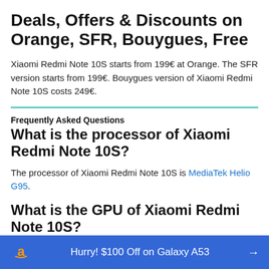Deals, Offers & Discounts on Orange, SFR, Bouygues, Free
Xiaomi Redmi Note 10S starts from 199€ at Orange. The SFR version starts from 199€. Bouygues version of Xiaomi Redmi Note 10S costs 249€.
Frequently Asked Questions
What is the processor of Xiaomi Redmi Note 10S?
The processor of Xiaomi Redmi Note 10S is MediaTek Helio G95.
What is the GPU of Xiaomi Redmi Note 10S?
Hurry! $100 Off on Galaxy A53